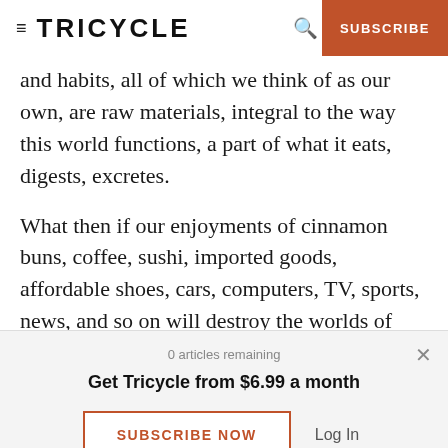≡ TRICYCLE  🔍  SUBSCRIBE
and habits, all of which we think of as our own, are raw materials, integral to the way this world functions, a part of what it eats, digests, excretes.
What then if our enjoyments of cinnamon buns, coffee, sushi, imported goods, affordable shoes, cars, computers, TV, sports, news, and so on will destroy the worlds of wild fish, of murals on ancient walls, of cranes in flight and gigantic ant colonies, of
0 articles remaining
Get Tricycle from $6.99 a month
SUBSCRIBE NOW
Log In
yearnings. We don't know exactly what we seek, or